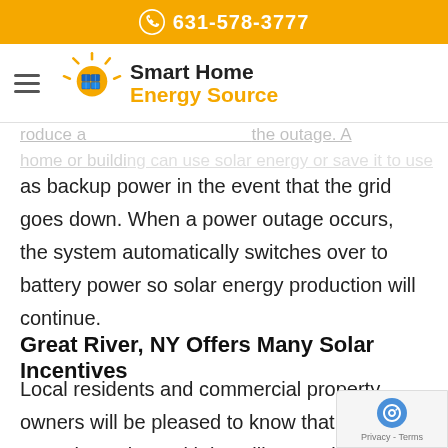631-578-3777
[Figure (logo): Smart Home Energy Source logo with sun and solar panels icon]
as backup power in the event that the grid goes down. When a power outage occurs, the system automatically switches over to battery power so solar energy production will continue.
Great River, NY Offers Many Solar Incentives
Local residents and commercial property owners will be pleased to know that there are many incentives with installing a solar panel system in Suffolk County. Smart Home Energy Source team is fully knowled...